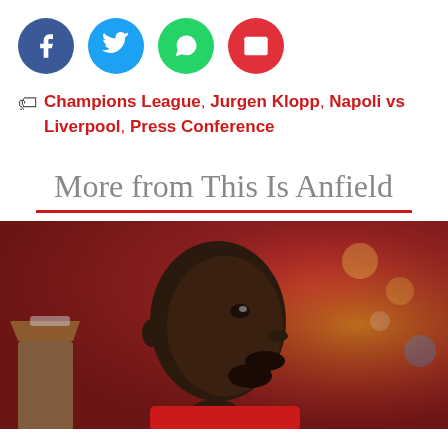[Figure (infographic): Four social media share buttons: Facebook (blue circle), Twitter (light blue circle), WhatsApp (green circle), Email (red circle)]
Champions League, Jurgen Klopp, Napoli vs Liverpool, Press Conference
More from This Is Anfield
[Figure (photo): A Black male footballer in a red Liverpool kit, holding a trophy, looking to the right, with a blurred crowd background]